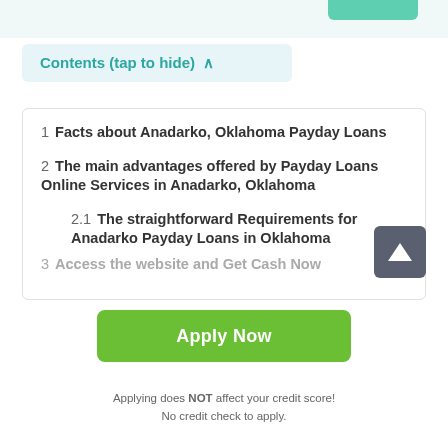Contents (tap to hide) ^
1  Facts about Anadarko, Oklahoma Payday Loans
2  The main advantages offered by Payday Loans Online Services in Anadarko, Oklahoma
2.1  The straightforward Requirements for Anadarko Payday Loans in Oklahoma
3  Access the website and Get Cash Now
Apply Now
Applying does NOT affect your credit score!
No credit check to apply.